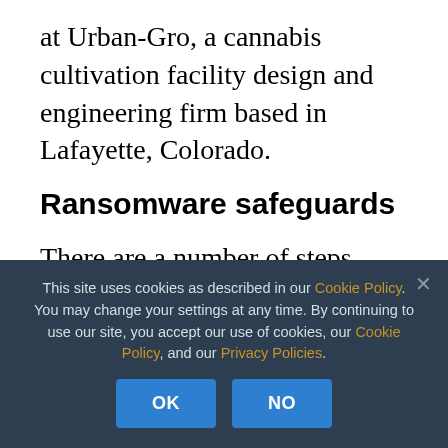at Urban-Gro, a cannabis cultivation facility design and engineering firm based in Lafayette, Colorado.
Ransomware safeguards
There are a number of steps cannabis businesses can take to protect themselves from attacks:
Store everything on the cloud.
This site uses cookies as described in our Cookie Policy. You may change your settings at any time. By continuing to use our site, you accept our use of cookies, our Cookie Policy, and our Privacy Policies.